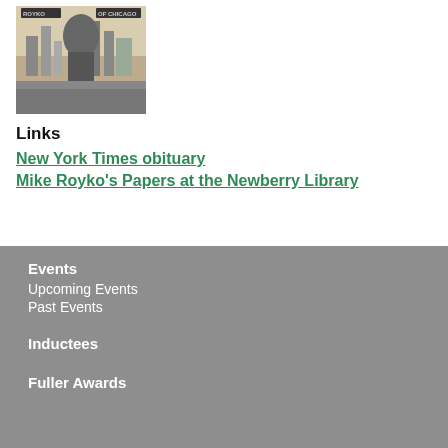[Figure (photo): Book cover image showing a figure over a Chicago cityscape with text 'ROYKO' and 'OF CHICAGO']
Links
New York Times obituary
Mike Royko's Papers at the Newberry Library
Events
Upcoming Events
Past Events
Inductees
Fuller Awards